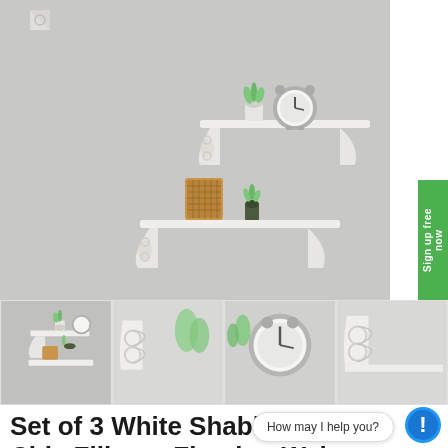[Figure (photo): Main product photo showing two white shabby chic filigree floating wall shelves mounted on a light grey wall. Upper shelf holds a small potted succulent plant and a silver alarm clock. Lower shelf holds a woven cylindrical lantern/vase and a small potted succulent plant.]
[Figure (photo): Thumbnail strip of 4 smaller photos showing different angles of the white filigree floating wall shelves product.]
Set of 3 White Shabby Chic Filigree Floating Wal...
How may I help you?